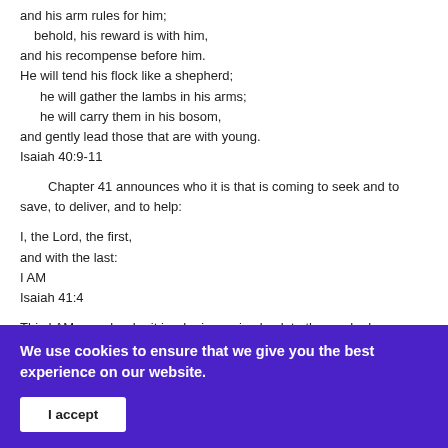and his arm rules for him;
 behold, his reward is with him,
and his recompense before him.
He will tend his flock like a shepherd;
  he will gather the lambs in his arms;
  he will carry them in his bosom,
and gently lead those that are with young.
Isaiah 40:9-11
Chapter 41 announces who it is that is coming to seek and to save, to deliver, and to help:
I, the Lord, the first,
and with the last:
I AM
Isaiah 41:4
This I AM reveals who it is who is coming back to those who have
We use cookies to ensure that we give you the best experience on our website.
I accept